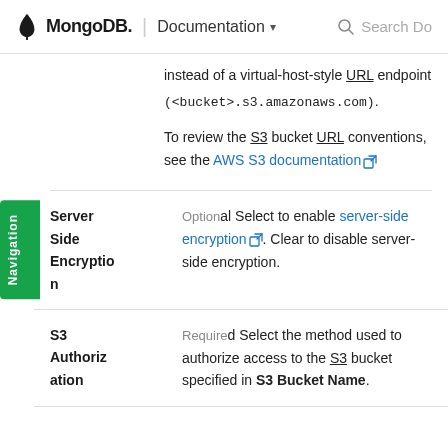MongoDB | Documentation
instead of a virtual-host-style URL endpoint (<bucket>.s3.amazonaws.com).
To review the S3 bucket URL conventions, see the AWS S3 documentation [external link].
| Field | Type | Description |
| --- | --- | --- |
| Server Side Encryption | Optional | Select to enable server-side encryption. Clear to disable server-side encryption. |
| S3 Authorization | Required | Select the method used to authorize access to the S3 bucket specified in S3 Bucket Name. |